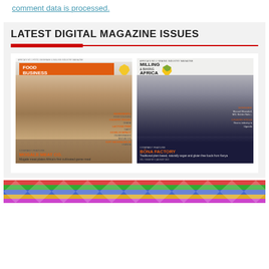comment data is processed.
LATEST DIGITAL MAGAZINE ISSUES
[Figure (illustration): Two magazine covers side by side: Food Business Africa (featuring a smiling middle-aged man, orange header with Africa logo) and Milling & Baking Africa (featuring a woman, dark background).]
[Figure (illustration): Decorative colorful geometric/African pattern banner at the bottom.]